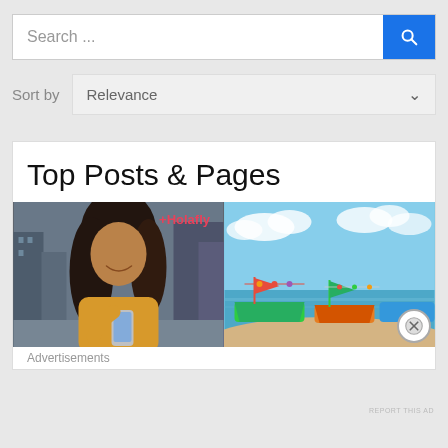Search ...
Sort by  Relevance
Top Posts & Pages
[Figure (photo): Woman in yellow sweater looking at phone, city background; beach scene with colorful boats and blue sky. Holafly label overlay on left image.]
Advertisements